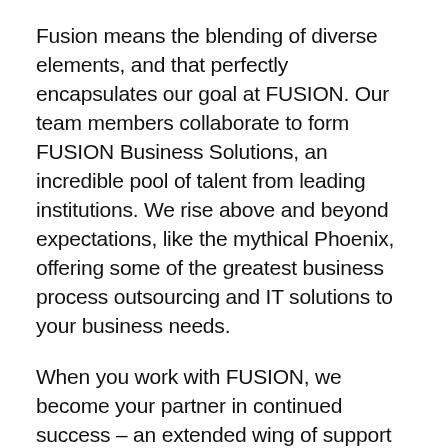Fusion means the blending of diverse elements, and that perfectly encapsulates our goal at FUSION. Our team members collaborate to form FUSION Business Solutions, an incredible pool of talent from leading institutions. We rise above and beyond expectations, like the mythical Phoenix, offering some of the greatest business process outsourcing and IT solutions to your business needs.
When you work with FUSION, we become your partner in continued success – an extended wing of support that enables your staff to excel. Whether you are a team of two or 2,000, we offer a competitive and comprehensive alternative to expedite business processes.